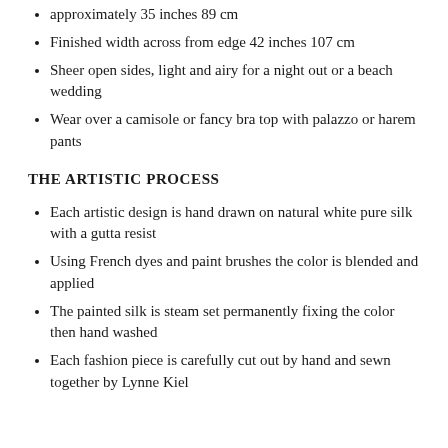approximately 35 inches 89 cm
Finished width across from edge 42 inches 107 cm
Sheer open sides, light and airy for a night out or a beach wedding
Wear over a camisole or fancy bra top with palazzo or harem pants
THE ARTISTIC PROCESS
Each artistic design is hand drawn on natural white pure silk with a gutta resist
Using French dyes and paint brushes the color is blended and applied
The painted silk is steam set permanently fixing the color then hand washed
Each fashion piece is carefully cut out by hand and sewn together by Lynne Kiel